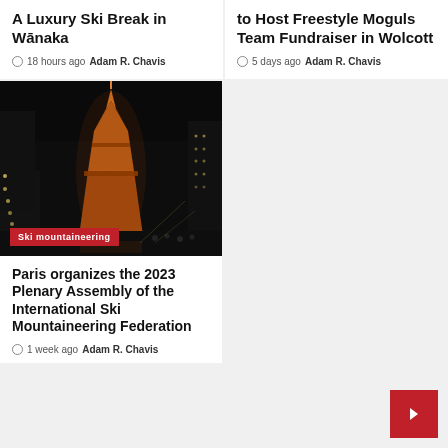A Luxury Ski Break in Wānaka
🕐 18 hours ago  Adam R. Chavis
to Host Freestyle Moguls Team Fundraiser in Wolcott
🕐 5 days ago  Adam R. Chavis
[Figure (photo): Night photo of the Eiffel Tower lit up in orange/amber with crowds in the foreground, taken from an avenue perspective]
Ski mountaineering
Paris organizes the 2023 Plenary Assembly of the International Ski Mountaineering Federation
🕐 1 week ago  Adam R. Chavis